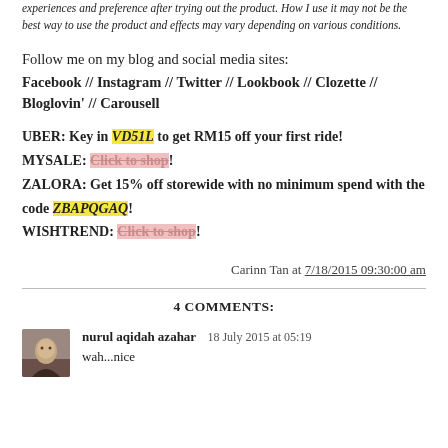experiences and preference after trying out the product. How I use it may not be the best way to use the product and effects may vary depending on various conditions.
Follow me on my blog and social media sites:
Facebook // Instagram // Twitter // Lookbook // Clozette // Bloglovin' // Carousell
UBER: Key in VD51L to get RM15 off your first ride!
MYSALE: Click to shop!
ZALORA: Get 15% off storewide with no minimum spend with the code ZBAPQGAQ!
WISHTREND: Click to shop!
Carinn Tan at 7/18/2015 09:30:00 am
4 COMMENTS:
nurul aqidah azahar  18 July 2015 at 05:19
wah...nice